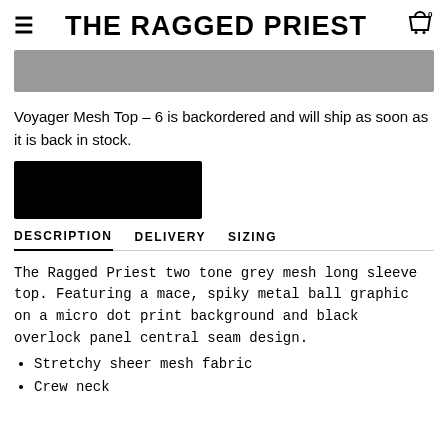THE RAGGED PRIEST
[Figure (other): Grey banner image placeholder]
Voyager Mesh Top - 6 is backordered and will ship as soon as it is back in stock.
[Figure (other): Black button/UI element placeholder]
DESCRIPTION    DELIVERY    SIZING
The Ragged Priest two tone grey mesh long sleeve top. Featuring a mace, spiky metal ball graphic on a micro dot print background and black overlock panel central seam design.
Stretchy sheer mesh fabric
Crew neck